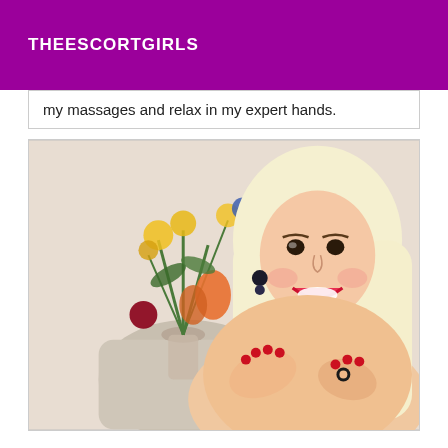THEESCORTGIRLS
my massages and relax in my expert hands.
[Figure (photo): Blonde woman posing in front of a floral arrangement]